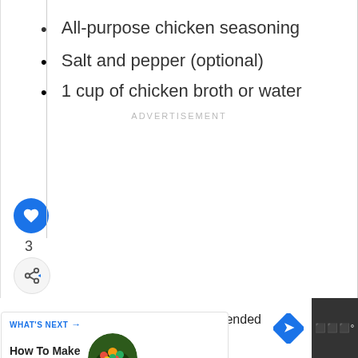All-purpose chicken seasoning
Salt and pepper (optional)
1 cup of chicken broth or water
ADVERTISEMENT
3
WHAT'S NEXT → How To Make Chickpea...
Choose the Brand Recommended by Walgreens Pharmacists